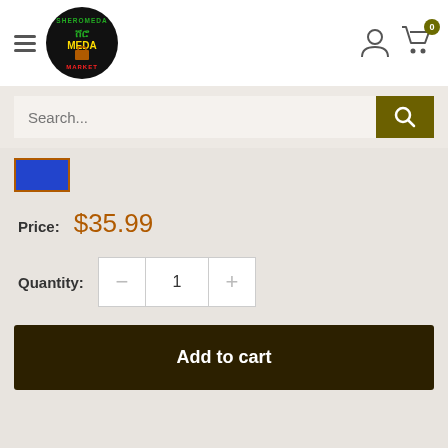[Figure (logo): Sheromeda Meda Market circular logo on black background with green, yellow, and red text]
Search...
[Figure (other): Blue color swatch with orange border selected]
Price: $35.99
Quantity: 1
Add to cart